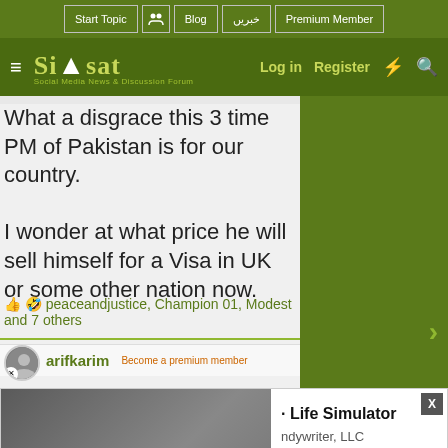Start Topic | Blog | خبریں | Premium Member
Siasat.pk — Social Media News & Discussion Forum | Log in | Register
What a disgrace this 3 time PM of Pakistan is for our country.

I wonder at what price he will sell himself for a Visa in UK or some other nation now.
👍 🤣 peaceandjustice, Champion 01, Modest and 7 others
arifkarim    Become a premium member
[Figure (screenshot): Ad overlay with video thumbnail showing a woman with a baby, play button, and app advertisement for 'Life Simulator' by 'ndywriter, LLC' with Install button]